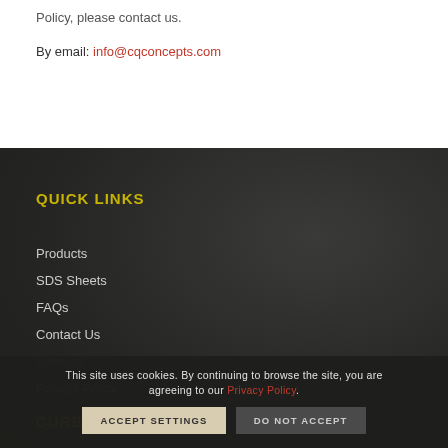Policy, please contact us.
By email: info@cqconcepts.com
QUICK LINKS
Products
SDS Sheets
FAQs
Contact Us
Sitemap
Privacy Policy
CURBS...
This site uses cookies. By continuing to browse the site, you are agreeing to our Privacy Policy.
ACCEPT SETTINGS
DO NOT ACCEPT